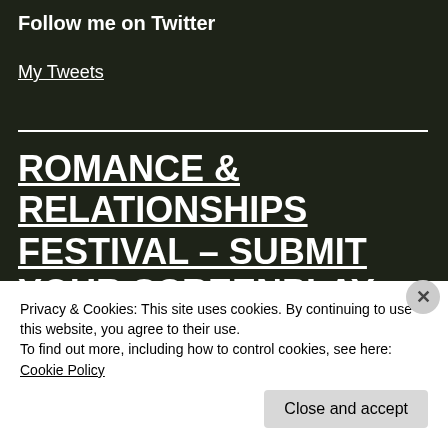Follow me on Twitter
My Tweets
ROMANCE & RELATIONSHIPS FESTIVAL – SUBMIT YOUR SCREENPLAY AND FILM AND GET IT
Privacy & Cookies: This site uses cookies. By continuing to use this website, you agree to their use.
To find out more, including how to control cookies, see here: Cookie Policy
Close and accept